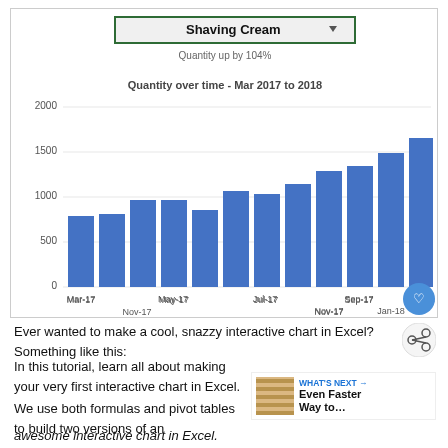Shaving Cream
Quantity up by 104%
[Figure (bar-chart): Quantity over time - Mar 2017 to 2018]
Ever wanted to make a cool, snazzy interactive chart in Excel? Something like this:
In this tutorial, learn all about making your very first interactive chart in Excel. We use both formulas and pivot tables to build two versions of an awesome interactive chart in Excel.